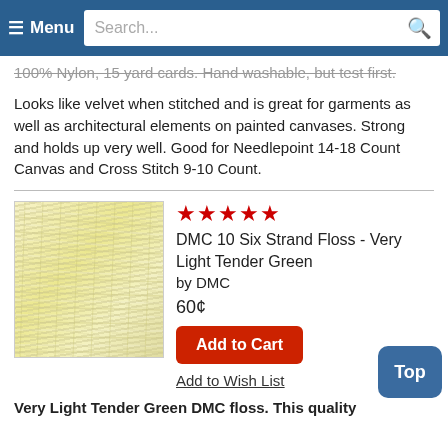≡ Menu  Search...
100% Nylon, 15 yard cards. Hand washable, but test first.
Looks like velvet when stitched and is great for garments as well as architectural elements on painted canvases. Strong and holds up very well. Good for Needlepoint 14-18 Count Canvas and Cross Stitch 9-10 Count.
[Figure (photo): Close-up photo of pale yellow/cream colored yarn or thread strands]
★★★★★
DMC 10 Six Strand Floss - Very Light Tender Green
by DMC
60¢
Add to Cart
Add to Wish List
Very Light Tender Green DMC floss. This quality